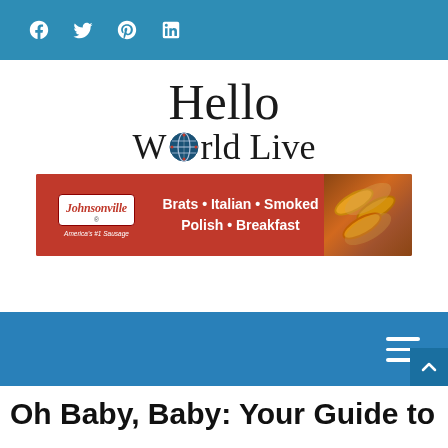Social bar with Facebook, Twitter, Pinterest, LinkedIn icons
[Figure (logo): Hello World Live logo — serif text with a globe icon replacing the 'o' in World]
[Figure (infographic): Johnsonville advertisement banner: Brats • Italian • Smoked Polish • Breakfast, America's #1 Sausage, red background with sausage images on right]
[Figure (other): Blue navigation bar with hamburger menu icon on the right]
Oh Baby, Baby: Your Guide to